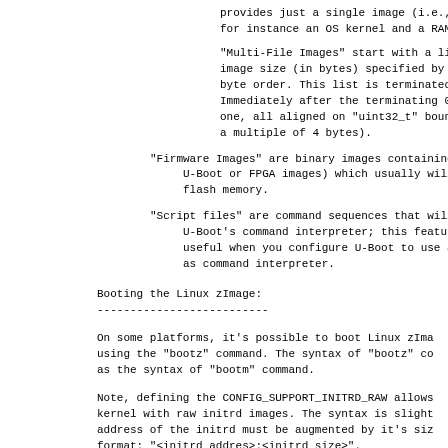provides just a single image (i.e., for instance an OS kernel and a RAMDisk ima
"Multi-File Images" start with a list of ima image size (in bytes) specified by an "uint byte order. This list is terminated by an " Immediately after the terminating 0 follow one, all aligned on "uint32_t" boundaries ( a multiple of 4 bytes).
"Firmware Images" are binary images containing f U-Boot or FPGA images) which usually will b flash memory.
"Script files" are command sequences that will b U-Boot's command interpreter; this feature useful when you configure U-Boot to use a r as command interpreter.
Booting the Linux zImage:
--------------------------
On some platforms, it's possible to boot Linux zIma using the "bootz" command. The syntax of "bootz" co as the syntax of "bootm" command.
Note, defining the CONFIG_SUPPORT_INITRD_RAW allows kernel with raw initrd images. The syntax is slight address of the initrd must be augmented by it's siz format: "<initrd addres>:<initrd size>".